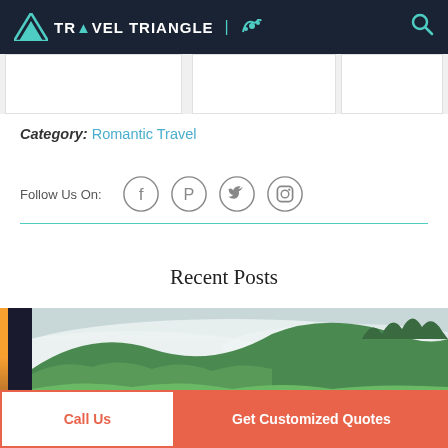TRAVEL TRIANGLE
Category: Romantic Travel
Follow Us On:
[Figure (screenshot): Social media follow icons: Facebook, Pinterest, Twitter, Instagram in circular outlines]
Recent Posts
[Figure (photo): Misty mountain landscape with green tea plantation hills and fog]
Call Us
Get Customized Quotes